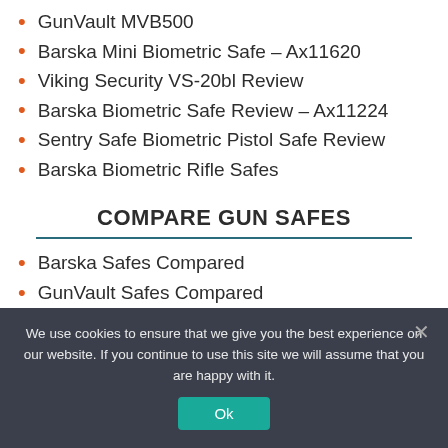GunVault MVB500
Barska Mini Biometric Safe – Ax11620
Viking Security VS-20bl Review
Barska Biometric Safe Review – Ax11224
Sentry Safe Biometric Pistol Safe Review
Barska Biometric Rifle Safes
COMPARE GUN SAFES
Barska Safes Compared
GunVault Safes Compared
We use cookies to ensure that we give you the best experience on our website. If you continue to use this site we will assume that you are happy with it.